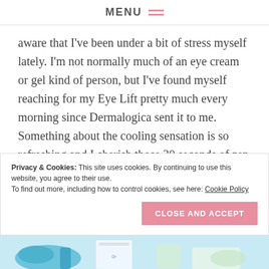MENU
aware that I've been under a bit of stress myself lately. I'm not normally much of an eye cream or gel kind of person, but I've found myself reaching for my Eye Lift pretty much every morning since Dermalogica sent it to me. Something about the cooling sensation is so refreshing and I cherish those 30 seconds of zen time to help me relax before I head off to work.
Privacy & Cookies: This site uses cookies. By continuing to use this website, you agree to their use. To find out more, including how to control cookies, see here: Cookie Policy
[Figure (photo): Bottom strip showing a product image, partially visible]